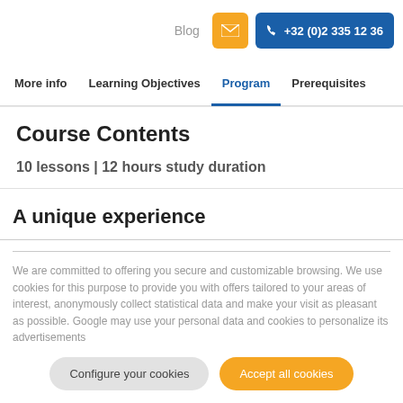Blog  +32 (0)2 335 12 36
More info  Learning Objectives  Program  Prerequisites
Course Contents
10 lessons | 12 hours study duration
A unique experience
We are committed to offering you secure and customizable browsing. We use cookies for this purpose to provide you with offers tailored to your areas of interest, anonymously collect statistical data and make your visit as pleasant as possible. Google may use your personal data and cookies to personalize its advertisements
Configure your cookies  Accept all cookies